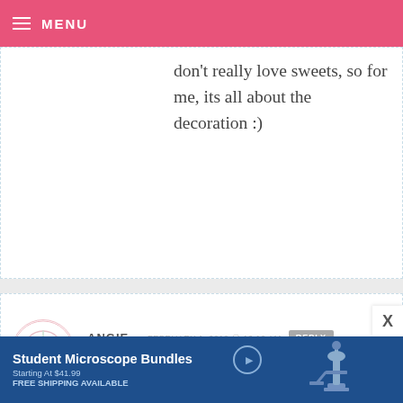MENU
don't really love sweets, so for me, its all about the decoration :)
ANGIE — FEBRUARY 1, 2010 @ 12:19 AM   REPLY
Love baking new sweets with my little bakers (5 & 2)! And thank goodness at their age – everything looks pretty!
KIM — FEBRUARY 1, 2010 @ 12:18 AM   REPLY
[Figure (infographic): Advertisement banner for Student Microscope Bundles, starting at $41.99, free shipping available, with microscope image on right side]